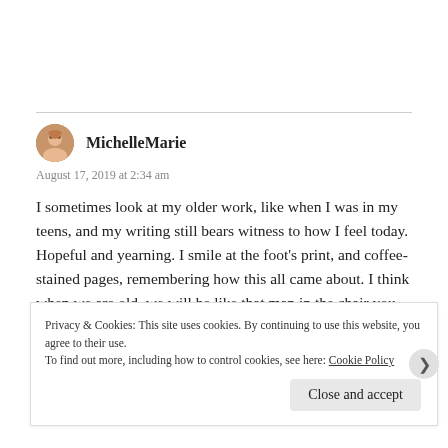MichelleMarie
August 17, 2019 at 2:34 am
I sometimes look at my older work, like when I was in my teens, and my writing still bears witness to how I feel today. Hopeful and yearning. I smile at the foot's print, and coffee-stained pages, remembering how this all came about. I think when we are old, we will be like that man in the chair you
Privacy & Cookies: This site uses cookies. By continuing to use this website, you agree to their use. To find out more, including how to control cookies, see here: Cookie Policy
Close and accept